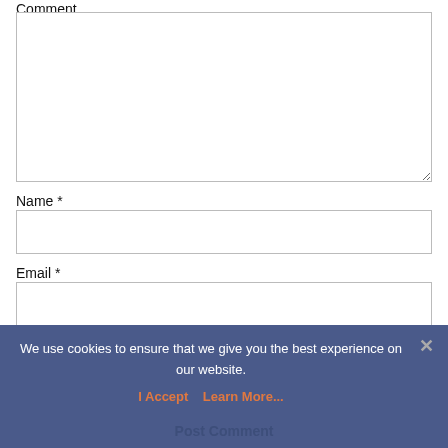Comment
Name *
Email *
Website
We use cookies to ensure that we give you the best experience on our website.
I Accept   Learn More...
Post Comment